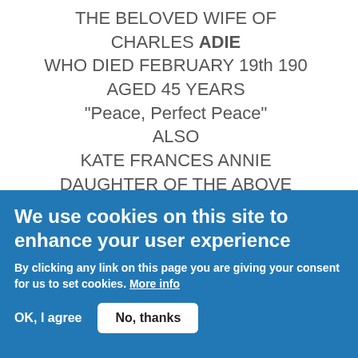THE BELOVED WIFE OF CHARLES ADIE WHO DIED FEBRUARY 19th 190 AGED 45 YEARS "Peace, Perfect Peace" ALSO KATE FRANCES ANNIE DAUGHTER OF THE ABOVE WHO DIED DECEMBER 27th 19 AGED 21 YEARS "At Rest with the Lord" ALSO
We use cookies on this site to enhance your user experience
By clicking any link on this page you are giving your consent for us to set cookies. More info
OK, I agree
No, thanks